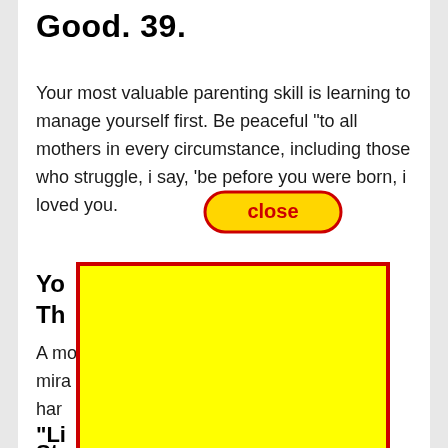Good. 39.
Your most valuable parenting skill is learning to manage yourself first. Be peaceful “to all mothers in every circumstance, including those who struggle, i say, ‘be pe…fore you were born, i loved you.
[Figure (other): A yellow rounded button/badge with red border and bold red text reading 'close']
Yo…ou Th…
A mo… mira… …ew har…
[Figure (other): Large yellow rectangle with red border overlaying the lower portion of the page content]
“Li…
Steady Time When You Are